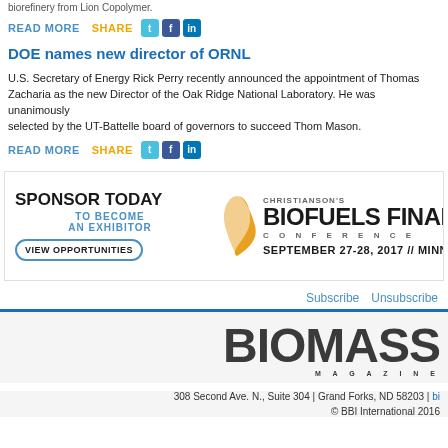biorefinery from Lion Copolymer.
READ MORE   SHARE
DOE names new director of ORNL
U.S. Secretary of Energy Rick Perry recently announced the appointment of Thomas Zacharia as the new Director of the Oak Ridge National Laboratory. He was unanimously selected by the UT-Battelle board of governors to succeed Thom Mason.
READ MORE   SHARE
[Figure (infographic): Advertisement banner for Christianson's Biofuels Finance Conference, September 27-28, 2017 in Minneapolis. Left side: SPONSOR TODAY TO BECOME AN EXHIBITOR with VIEW OPPORTUNITIES button. Right side: Christianson's logo with BIOFUELS FINANCE CONFERENCE text.]
Subscribe   Unsubscribe
[Figure (logo): Biomass Magazine logo with large bold text BIOMASS and MAGAZINE in smaller spaced letters below]
308 Second Ave. N., Suite 304 | Grand Forks, ND 58203 | bi
© BBI International 2016